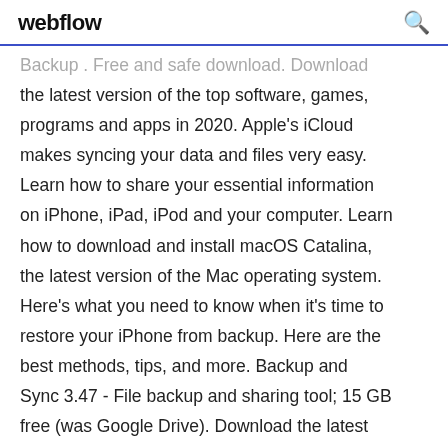webflow  🔍
Backup . Free and safe download. Download the latest version of the top software, games, programs and apps in 2020. Apple's iCloud makes syncing your data and files very easy. Learn how to share your essential information on iPhone, iPad, iPod and your computer. Learn how to download and install macOS Catalina, the latest version of the Mac operating system. Here's what you need to know when it's time to restore your iPhone from backup. Here are the best methods, tips, and more. Backup and Sync 3.47 - File backup and sharing tool; 15 GB free (was Google Drive). Download the latest versions of the best Mac apps at safe and trusted MacUpdate